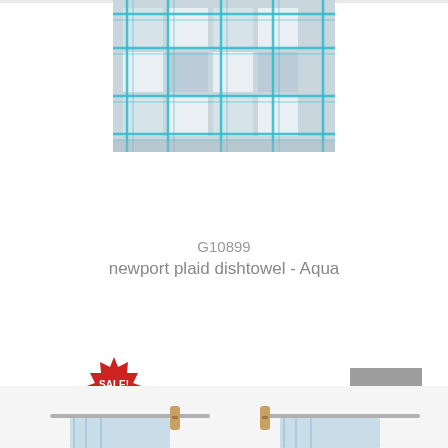[Figure (photo): Aqua and grey plaid dishtowel hanging, partially cropped at top of page]
G10899
newport plaid dishtowel - Aqua
[Figure (illustration): Red starburst SALE! badge]
[Figure (photo): Bottom portion of another product image, partially cropped, showing clothesline with towels]
[Figure (other): Grey scroll-to-top button with upward arrow]